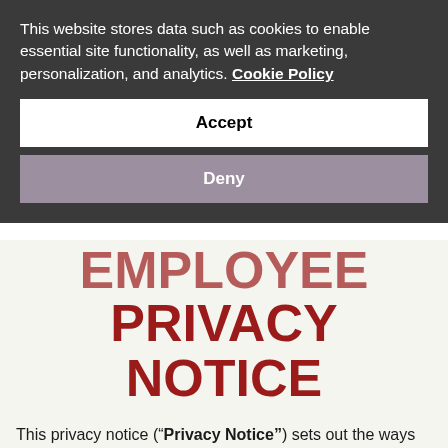This website stores data such as cookies to enable essential site functionality, as well as marketing, personalization, and analytics. Cookie Policy
Accept
Deny
EMPLOYEE PRIVACY NOTICE
This privacy notice (“Privacy Notice”) sets out the ways in which HACHETTE UK LIMITED (“company” “we” “us “our”) which is the employer for all employees within the Hachette UK Group of Companies  excluding Bookpoint Limited and Hachette UK Distribution Limited (see here) (“Hachette